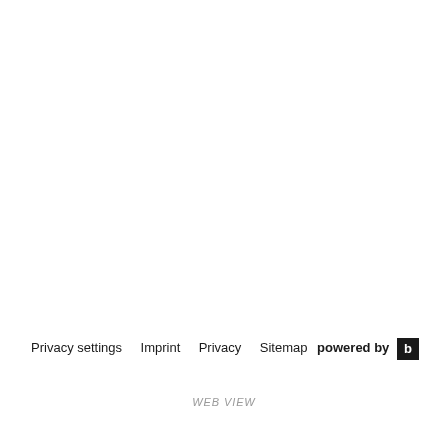Privacy settings   Imprint   Privacy   Sitemap   powered by  b
WEB VIEW